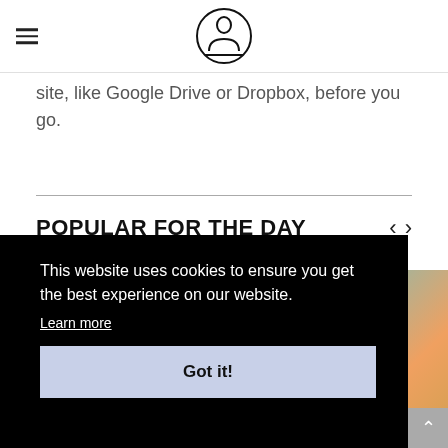[Logo icon]
site, like Google Drive or Dropbox, before you go.
POPULAR FOR THE DAY
[Figure (photo): Partial photo of a person, teal/orange tones, behind cookie consent overlay]
This website uses cookies to ensure you get the best experience on our website.
Learn more
Got it!